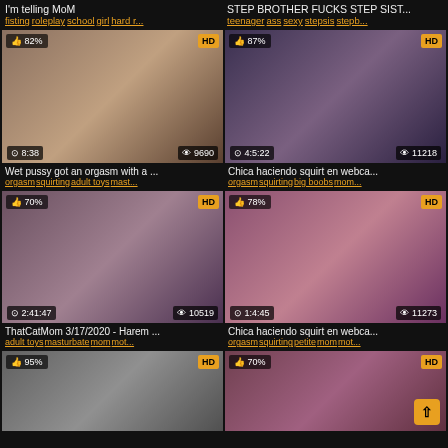I'm telling MoM
fisting roleplay school girl hard r...
STEP BROTHER FUCKS STEP SIST...
teenager ass sexy stepsis stepb...
[Figure (photo): Video thumbnail - 82% rating, HD, 8:38 duration, 9690 views]
Wet pussy got an orgasm with a ...
orgasm squirting adult toys mast...
[Figure (photo): Video thumbnail - 87% rating, HD, 4:5:22 duration, 11218 views]
Chica haciendo squirt en webca...
orgasm squirting big boobs mom...
[Figure (photo): Video thumbnail - 70% rating, HD, 2:41:47 duration, 10519 views]
ThatCatMom 3/17/2020 - Harem ...
adult toys masturbate mom mot...
[Figure (photo): Video thumbnail - 78% rating, HD, 1:4:45 duration, 11273 views]
Chica haciendo squirt en webca...
orgasm squirting petite mom mot...
[Figure (photo): Video thumbnail - 95% rating, HD (partially visible)]
[Figure (photo): Video thumbnail - 70% rating, HD (partially visible)]